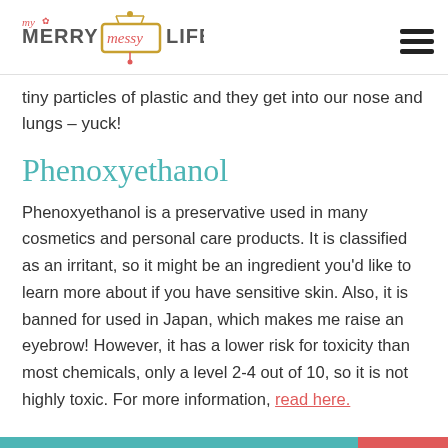My Merry Messy Life
tiny particles of plastic and they get into our nose and lungs – yuck!
Phenoxyethanol
Phenoxyethanol is a preservative used in many cosmetics and personal care products. It is classified as an irritant, so it might be an ingredient you'd like to learn more about if you have sensitive skin. Also, it is banned for used in Japan, which makes me raise an eyebrow! However, it has a lower risk for toxicity than most chemicals, only a level 2-4 out of 10, so it is not highly toxic. For more information, read here.